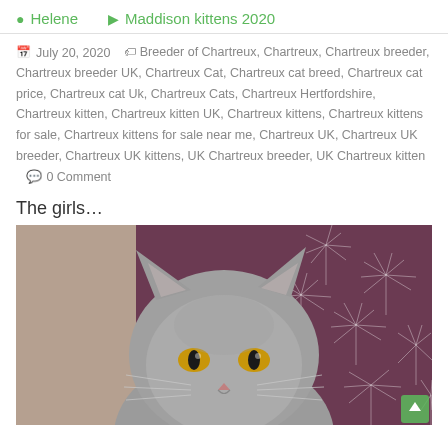Helene   Maddison kittens 2020
July 20, 2020   Breeder of Chartreux, Chartreux, Chartreux breeder, Chartreux breeder UK, Chartreux Cat, Chartreux cat breed, Chartreux cat price, Chartreux cat Uk, Chartreux Cats, Chartreux Hertfordshire, Chartreux kitten, Chartreux kitten UK, Chartreux kittens, Chartreux kittens for sale, Chartreux kittens for sale near me, Chartreux UK, Chartreux UK breeder, Chartreux UK kittens, UK Chartreux breeder, UK Chartreux kitten   0 Comment
The girls…
[Figure (photo): A grey Chartreux cat looking at the camera, photographed against a purple background with white dandelion-like pattern. The cat has golden/amber eyes and is partially visible from the top of the image.]